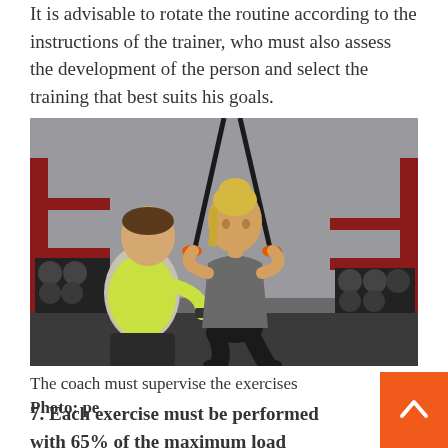It is advisable to rotate the routine according to the instructions of the trainer, who must also assess the development of the person and select the training that best suits his goals.
[Figure (photo): A female athlete performing TRX suspension training exercises while a male trainer in a yellow shirt observes and assists her in a gym setting with weights and equipment in the background.]
The coach must supervise the exercises Photo: pe
7. Each exercise must be performed with 65% of the maximum load